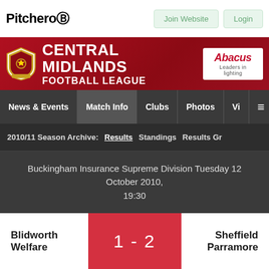Pitchero
Join Website   Login
[Figure (logo): Central Midlands Football League shield logo with red and gold design]
CENTRAL MIDLANDS FOOTBALL LEAGUE
[Figure (logo): Abacus Leaders in lighting sponsor logo]
News & Events   Match Info   Clubs   Photos   V   ≡
2010/11 Season Archive:   Results   Standings   Results Gr
Buckingham Insurance Supreme Division Tuesday 12 October 2010, 19:30
Blidworth Welfare   1 - 2   Sheffield Parramore